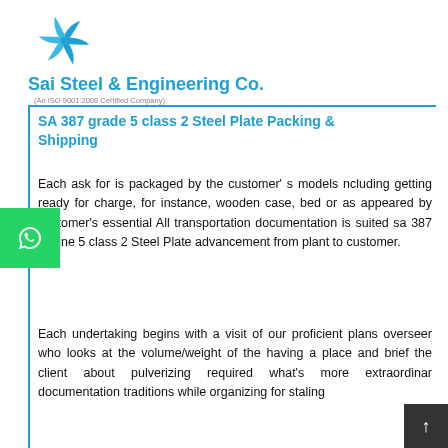[Figure (logo): Sai Steel & Engineering Co. logo with blue pinwheel/star graphic, company name in blue, and ISO 9001:2008 certification text]
SA 387 grade 5 class 2 Steel Plate Packing & Shipping
Each ask for is packaged by the customer' s models ncluding getting ready for charge, for instance, wooden case, bed or as appeared by customer's essential All transportation documentation is suited sa 387 outline 5 class 2 Steel Plate advancement from plant to customer.
Each undertaking begins with a visit of our proficient plans overseer who looks at the volume/weight of the having a place and brief the client about pulverizing required what's more extraordinar documentation traditions while organizing for staling